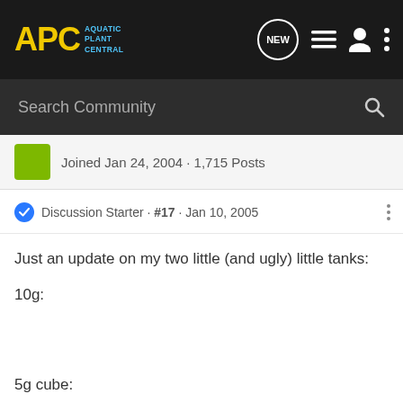APC Aquatic Plant Central
Joined Jan 24, 2004 · 1,715 Posts
Discussion Starter · #17 · Jan 10, 2005
Just an update on my two little (and ugly) little tanks:
10g:
5g cube:
Carlos